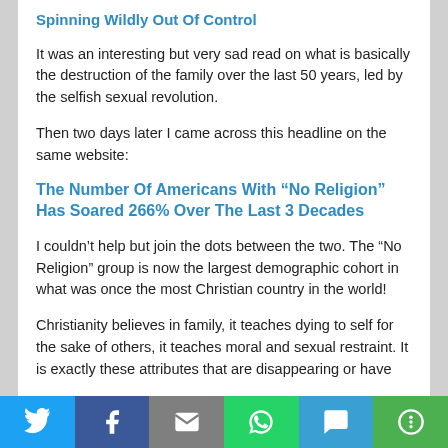Spinning Wildly Out Of Control
It was an interesting but very sad read on what is basically the destruction of the family over the last 50 years, led by the selfish sexual revolution.
Then two days later I came across this headline on the same website:
The Number Of Americans With “No Religion” Has Soared 266% Over The Last 3 Decades
I couldn’t help but join the dots between the two. The “No Religion” group is now the largest demographic cohort in what was once the most Christian country in the world!
Christianity believes in family, it teaches dying to self for the sake of others, it teaches moral and sexual restraint. It is exactly these attributes that are disappearing or have